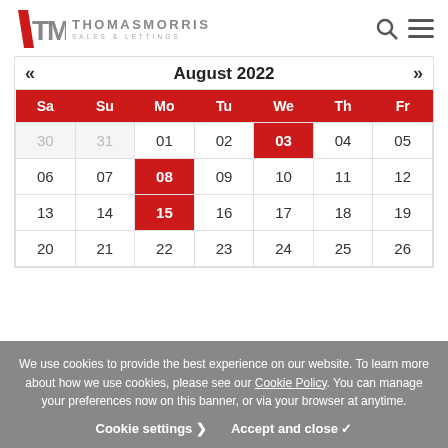[Figure (logo): Thomas Morris Sales & Lettings logo with TM initials in grey and red tick mark]
| Sa | Su | Mo | Tu | We | Th | Fr |
| --- | --- | --- | --- | --- | --- | --- |
| 30 | 31 | 01 | 02 | 03 | 04 | 05 |
| 06 | 07 | 08 | 09 | 10 | 11 | 12 |
| 13 | 14 | 15 | 16 | 17 | 18 | 19 |
| 20 | 21 | 22 | 23 | 24 | 25 | 26 |
We use cookies to provide the best experience on our website. To learn more about how we use cookies, please see our Cookie Policy. You can manage your preferences now on this banner, or via your browser at anytime.
Cookie settings ➤   Accept and close ✓